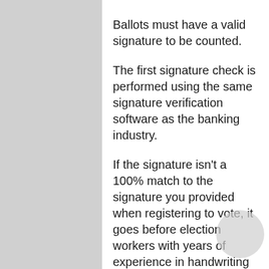Ballots must have a valid signature to be counted.
The first signature check is performed using the same signature verification software as the banking industry.
If the signature isn't a 100% match to the signature you provided when registering to vote, it goes before election workers with years of experience in handwriting analysis for a second and sometimes third look.
Senior Elections staff may also review a flagged signature for a final decision before it is challenged.